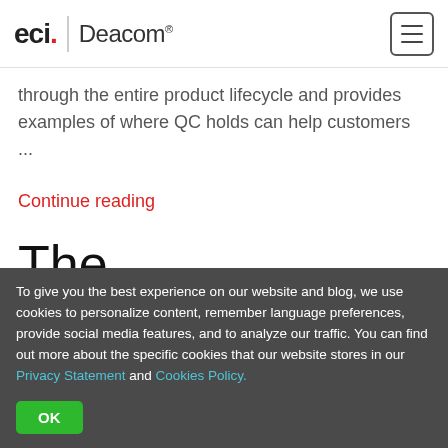eci | Deacom®
through the entire product lifecycle and provides examples of where QC holds can help customers ...
Continue reading
The Deacom Blog
To give you the best experience on our website and blog, we use cookies to personalize content, remember language preferences, provide social media features, and to analyze our traffic. You can find out more about the specific cookies that our website stores in our Privacy Statement and Cookies Policy.